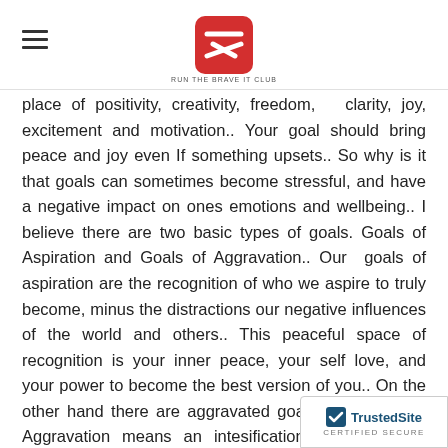[Logo: Run The Brave It Club with hamburger menu icon]
place of positivity, creativity, freedom, clarity, joy, excitement and motivation.. Your goal should bring peace and joy even If something upsets.. So why is it that goals can sometimes become stressful, and have a negative impact on ones emotions and wellbeing.. I believe there are two basic types of goals. Goals of Aspiration and Goals of Aggravation.. Our goals of aspiration are the recognition of who we aspire to truly become, minus the distractions our negative influences of the world and others.. This peaceful space of recognition is your inner peace, your self love, and your power to become the best version of you.. On the other hand there are aggravated goals.. By definition Aggravation means an intesification of a negative quality or aspect... So naturally goals derived from being aggravated or upset activate a person's negative qualities.. One of those c negatives is stress.. If a person is aggravate
[Figure (logo): TrustedSite Certified Secure badge in bottom right corner]